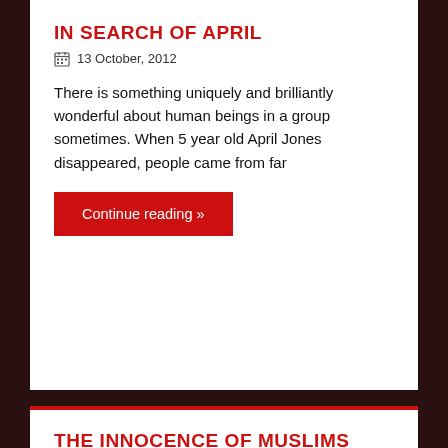IN SEARCH OF APRIL
13 October, 2012
There is something uniquely and brilliantly wonderful about human beings in a group sometimes. When 5 year old April Jones disappeared, people came from far
Continue reading »
THE INNOCENCE OF MUSLIMS
13 September, 2012
So let me get this right. I need to fully understand